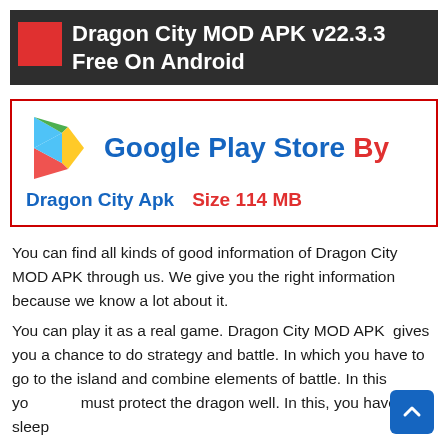Dragon City MOD APK v22.3.3 Free On Android
[Figure (infographic): Google Play Store logo with play triangle icon in blue, green, yellow, red. Text: Google Play Store By Dragon City Apk Size 114 MB. Surrounded by red border.]
You can find all kinds of good information of Dragon City MOD APK through us. We give you the right information because we know a lot about it.
You can play it as a real game. Dragon City MOD APK  gives you a chance to do strategy and battle. In which you have to go to the island and combine elements of battle. In this you must protect the dragon well. In this, you have to sleep